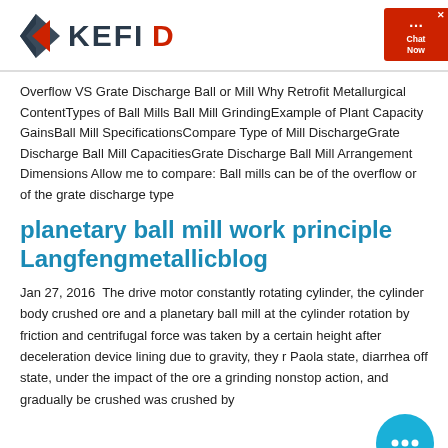KEFID logo and navigation
Overflow VS Grate Discharge Ball or Mill Why Retrofit Metallurgical ContentTypes of Ball Mills Ball Mill GrindingExample of Plant Capacity GainsBall Mill SpecificationsCompare Type of Mill DischargeGrate Discharge Ball Mill CapacitiesGrate Discharge Ball Mill Arrangement Dimensions Allow me to compare: Ball mills can be of the overflow or of the grate discharge type
planetary ball mill work principle Langfengmetallicblog
Jan 27, 2016  The drive motor constantly rotating cylinder, the cylinder body crushed ore and a planetary ball mill at the cylinder rotation by friction and centrifugal force was taken by a certain height after deceleration device lining due to gravity, they r Paola state, diarrhea off state, under the impact of the ore a grinding nonstop action, and gradually be crushed was crushed by